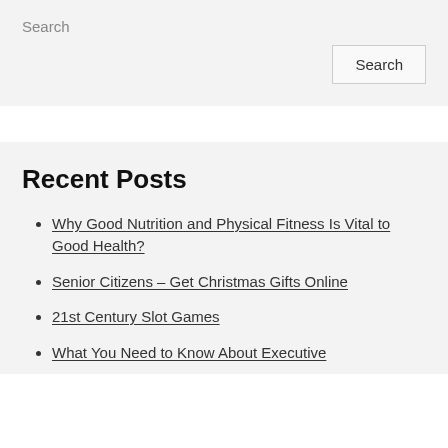Search
Search
Recent Posts
Why Good Nutrition and Physical Fitness Is Vital to Good Health?
Senior Citizens – Get Christmas Gifts Online
21st Century Slot Games
What You Need to Know About Executive